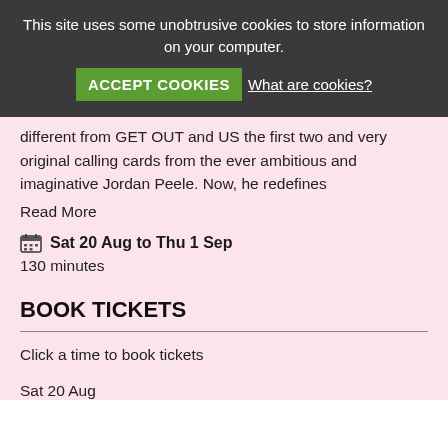This site uses some unobtrusive cookies to store information on your computer.
ACCEPT COOKIES  What are cookies?
different from GET OUT and US the first two and very original calling cards from the ever ambitious and imaginative Jordan Peele. Now, he redefines
Read More
Sat 20 Aug to Thu 1 Sep
130 minutes
BOOK TICKETS
Click a time to book tickets
Sat 20 Aug